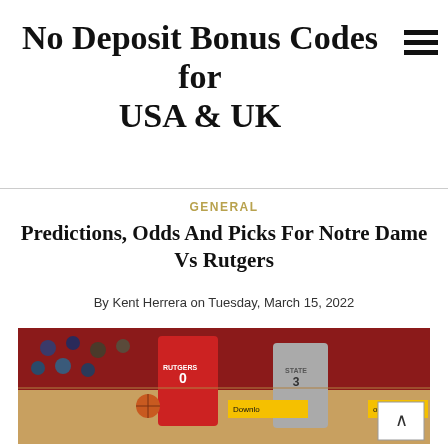No Deposit Bonus Codes for USA & UK
GENERAL
Predictions, Odds And Picks For Notre Dame Vs Rutgers
By Kent Herrera on Tuesday, March 15, 2022
[Figure (photo): Basketball game photo showing a Rutgers player wearing jersey number 0 dribbling the ball past a Penn State defender in a crowded arena. A McDonald's advertisement banner is visible in the background.]